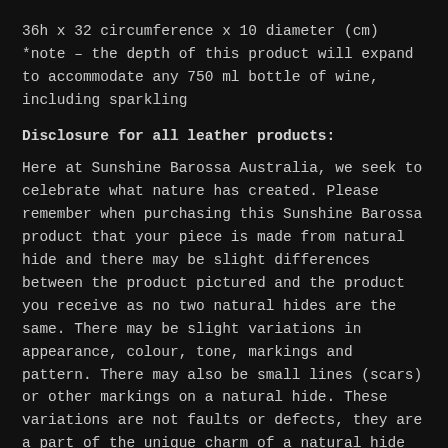36h x 32 circumference x 10 diameter (cm) *note – the depth of this product will expand to accommodate any 750 ml bottle of wine, including sparkling
Disclosure for all leather products:
Here at Sunshine Barossa Australia, we seek to celebrate what nature has created. Please remember when purchasing this Sunshine Barossa product that your piece is made from natural hide and there may be slight differences between the product pictured and the product you receive as no two natural hides are the same. There may be slight variations in appearance, colour, tone, markings and pattern. There may also be small lines (scars) or other markings on a natural hide. These variations are not faults or defects, they are a part of the unique charm of a natural hide